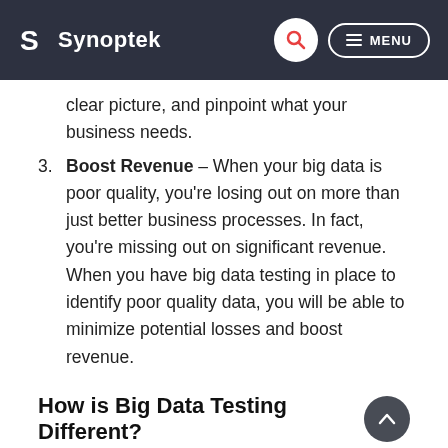Synoptek
clear picture, and pinpoint what your business needs.
3. Boost Revenue – When your big data is poor quality, you're losing out on more than just better business processes. In fact, you're missing out on significant revenue. When you have big data testing in place to identify poor quality data, you will be able to minimize potential losses and boost revenue.
How is Big Data Testing Different?
Unlike testing of normal applications where a significant time is spent on testing the performance